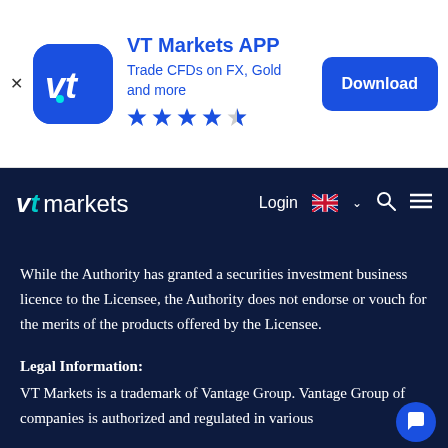[Figure (screenshot): VT Markets APP advertisement banner with app icon, title, subtitle 'Trade CFDs on FX, Gold and more', 4.5 star rating, and Download button]
[Figure (logo): VT Markets navigation bar with logo, Login button, UK flag language selector, search icon, and menu icon on dark navy background]
While the Authority has granted a securities investment business licence to the Licensee, the Authority does not endorse or vouch for the merits of the products offered by the Licensee.
Legal Information:
VT Markets is a trademark of Vantage Group. Vantage Group of companies is authorized and regulated in various